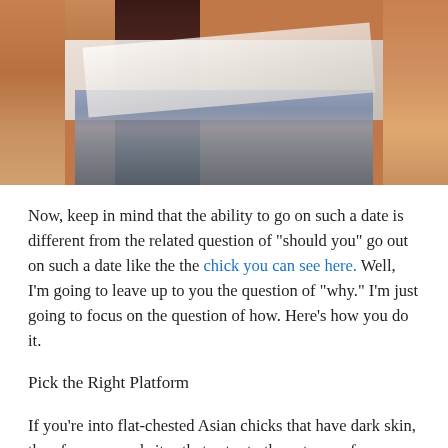[Figure (photo): A close-up photo of a person with dark reddish-brown hair wearing a white top and denim shorts/skirt, skin tones visible on sides.]
Now, keep in mind that the ability to go on such a date is different from the related question of "should you" go out on such a date like the the chick you can see here. Well, I'm going to leave up to you the question of "why." I'm just going to focus on the question of how. Here's how you do it.
Pick the Right Platform
If you're into flat-chested Asian chicks that have dark skin, then focus on websites that cater to those types of